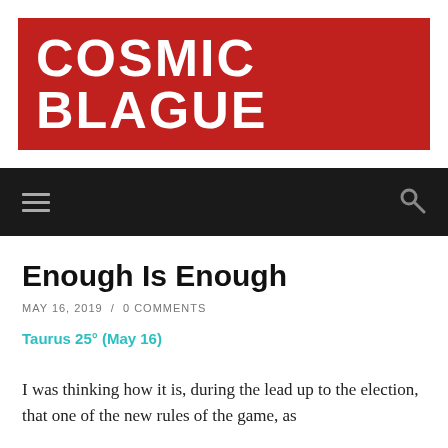COSMIC BLAGUE
Enough Is Enough
MAY 16, 2019 / 0 COMMENTS
Taurus 25° (May 16)
I was thinking how it is, during the lead up to the election, that one of the new rules of the game, as